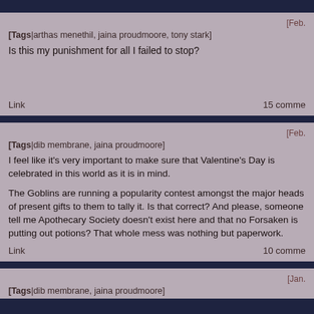[Feb.
[Tags|arthas menethil, jaina proudmoore, tony stark]
Is this my punishment for all I failed to stop?
Link    15 comme
[Feb.
[Tags|dib membrane, jaina proudmoore]
I feel like it's very important to make sure that Valentine's Day is celebrated in this world as it is in mind.
The Goblins are running a popularity contest amongst the major heads of present gifts to them to tally it. Is that correct? And please, someone tell me Apothecary Society doesn't exist here and that no Forsaken is putting out potions? That whole mess was nothing but paperwork.
Link    10 comme
[Jan.
[Tags|dib membrane, jaina proudmoore]